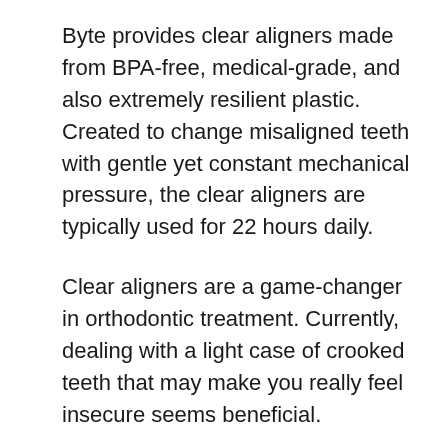Byte provides clear aligners made from BPA-free, medical-grade, and also extremely resilient plastic. Created to change misaligned teeth with gentle yet constant mechanical pressure, the clear aligners are typically used for 22 hours daily.
Clear aligners are a game-changer in orthodontic treatment. Currently, dealing with a light case of crooked teeth that may make you really feel insecure seems beneficial.
Clinical research shows that aligners can efficiently align teeth in mild to moderate instances. One review found that aligners were equal to braces, if not far better, in